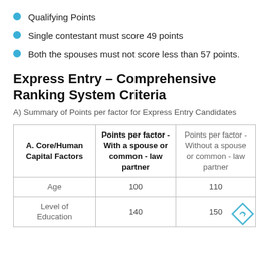Qualifying Points
Single contestant must score 49 points
Both the spouses must not score less than 57 points.
Express Entry – Comprehensive Ranking System Criteria
A) Summary of Points per factor for Express Entry Candidates
| A. Core/Human Capital Factors | Points per factor - With a spouse or common - law partner | Points per factor - Without a spouse or common - law partner |
| --- | --- | --- |
| Age | 100 | 110 |
| Level of Education | 140 | 150 |